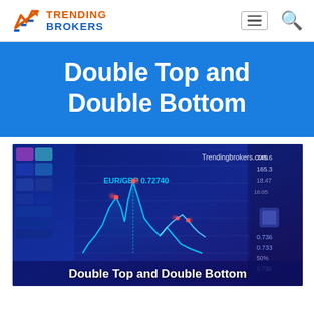TRENDING BROKERS
Double Top and Double Bottom
[Figure (photo): Financial trading screen showing candlestick/line charts with EUR/GBP 0.72740 displayed and glowing chart lines, watermarked Trendingbrokers.com. Overlay text: Double Top and Double Bottom.]